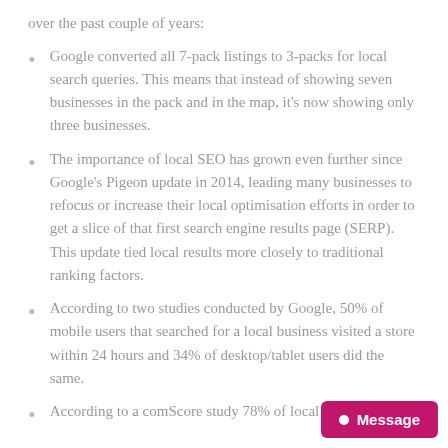over the past couple of years:
Google converted all 7-pack listings to 3-packs for local search queries. This means that instead of showing seven businesses in the pack and in the map, it's now showing only three businesses.
The importance of local SEO has grown even further since Google's Pigeon update in 2014, leading many businesses to refocus or increase their local optimisation efforts in order to get a slice of that first search engine results page (SERP). This update tied local results more closely to traditional ranking factors.
According to two studies conducted by Google, 50% of mobile users that searched for a local business visited a store within 24 hours and 34% of desktop/tablet users did the same.
According to a comScore study 78% of local mobile